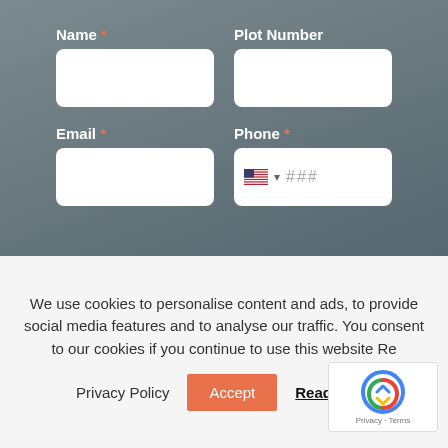Name *
Plot Number
Email *
Phone *
Property Type *
Number of Bedrooms *
Flat
1
We use cookies to personalise content and ads, to provide social media features and to analyse our traffic. You consent to our cookies if you continue to use this website Re
Privacy Policy
Accept
Read More